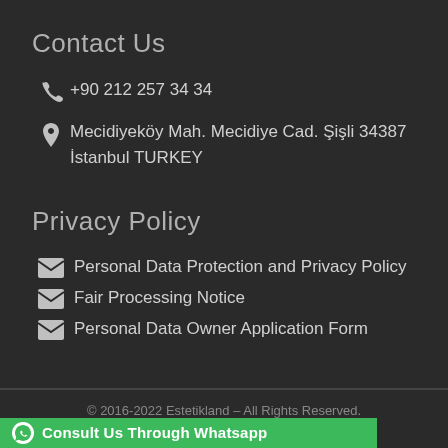Contact Us
+90 212 257 34 34
Mecidiyeköy Mah. Mecidiye Cad. Şişli 34387 İstanbul TURKEY
Privacy Policy
Personal Data Protection and Privacy Policy
Fair Processing Notice
Personal Data Owner Application Form
© 2016-2022 Estetikland – All Rights Reserved.
Consult Us Through Whatsapp